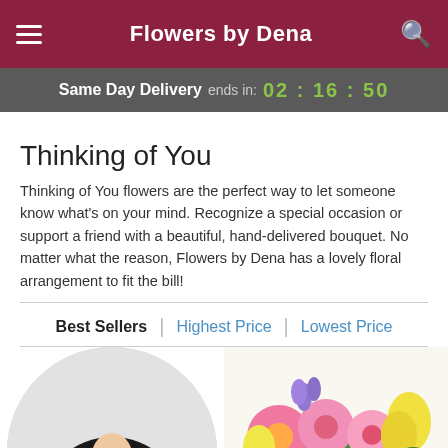Flowers by Dena
Same Day Delivery ends in: 02 : 16 : 50
Thinking of You
Thinking of You flowers are the perfect way to let someone know what's on your mind. Recognize a special occasion or support a friend with a beautiful, hand-delivered bouquet. No matter what the reason, Flowers by Dena has a lovely floral arrangement to fit the bill!
Best Sellers | Highest Price | Lowest Price
[Figure (photo): Person in black outfit holding a pink rose bud, shown in a circular crop]
[Figure (photo): Colorful flower arrangement with pink gerbera daisies, yellow lilies, and purple flowers]